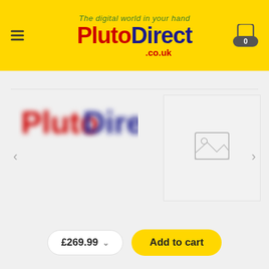[Figure (logo): PlutoDirect.co.uk header logo with tagline 'The digital world in your hand' on yellow background with hamburger menu and cart icon]
[Figure (photo): Blurred PlutoDirect logo thumbnail on left side of product gallery]
[Figure (photo): Placeholder image on right side of product gallery (grey box with image icon)]
£269.99
Add to cart